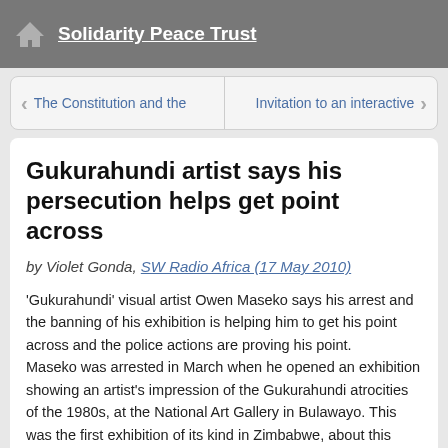Solidarity Peace Trust
The Constitution and the   Invitation to an interactive
Gukurahundi artist says his persecution helps get point across
by Violet Gonda, SW Radio Africa (17 May 2010)
‘Gukurahundi’ visual artist Owen Maseko says his arrest and the banning of his exhibition is helping him to get his point across and the police actions are proving his point.
Maseko was arrested in March when he opened an exhibition showing an artist's impression of the Gukurahundi atrocities of the 1980s, at the National Art Gallery in Bulawayo. This was the first exhibition of its kind in Zimbabwe, about this violent period that led to the deaths of an estimated 20 000 Ndebeles in Matabeleland and the Midlands provinces.
Police could not remove the graphic pictures and graffiti which had been painted directly onto the walls of the gallery, so they stormed the building and shut the exhibition down. They also covered the windows with newspapers so that people walking past the gallery could not see the